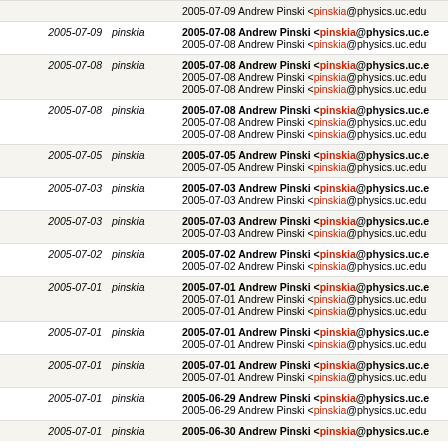| Date | User | Content |
| --- | --- | --- |
|  |  | 2005-07-09 Andrew Pinski <pinskia@physics.uc.edu |
| 2005-07-09 | pinskia | 2005-07-08 Andrew Pinski <pinskia@physics.uc.e / 2005-07-08 Andrew Pinski <pinskia@physics.uc.edu |
| 2005-07-08 | pinskia | 2005-07-08 Andrew Pinski <pinskia@physics.uc.e / 2005-07-08 Andrew Pinski <pinskia@physics.uc.edu / 2005-07-08 Andrew Pinski <pinskia@physics.uc.edu |
| 2005-07-08 | pinskia | 2005-07-08 Andrew Pinski <pinskia@physics.uc.e / 2005-07-08 Andrew Pinski <pinskia@physics.uc.edu / 2005-07-08 Andrew Pinski <pinskia@physics.uc.edu |
| 2005-07-05 | pinskia | 2005-07-05 Andrew Pinski <pinskia@physics.uc.e / 2005-07-05 Andrew Pinski <pinskia@physics.uc.edu |
| 2005-07-03 | pinskia | 2005-07-03 Andrew Pinski <pinskia@physics.uc.e / 2005-07-03 Andrew Pinski <pinskia@physics.uc.edu |
| 2005-07-03 | pinskia | 2005-07-03 Andrew Pinski <pinskia@physics.uc.e / 2005-07-03 Andrew Pinski <pinskia@physics.uc.edu |
| 2005-07-02 | pinskia | 2005-07-02 Andrew Pinski <pinskia@physics.uc.e / 2005-07-02 Andrew Pinski <pinskia@physics.uc.edu |
| 2005-07-01 | pinskia | 2005-07-01 Andrew Pinski <pinskia@physics.uc.e / 2005-07-01 Andrew Pinski <pinskia@physics.uc.edu / 2005-07-01 Andrew Pinski <pinskia@physics.uc.edu |
| 2005-07-01 | pinskia | 2005-07-01 Andrew Pinski <pinskia@physics.uc.e / 2005-07-01 Andrew Pinski <pinskia@physics.uc.edu |
| 2005-07-01 | pinskia | 2005-07-01 Andrew Pinski <pinskia@physics.uc.e / 2005-07-01 Andrew Pinski <pinskia@physics.uc.edu |
| 2005-07-01 | pinskia | 2005-06-29 Andrew Pinski <pinskia@physics.uc.e / 2005-06-29 Andrew Pinski <pinskia@physics.uc.edu |
| 2005-07-01 | pinskia | 2005-06-30 Andrew Pinski <pinskia@physics.uc.e |